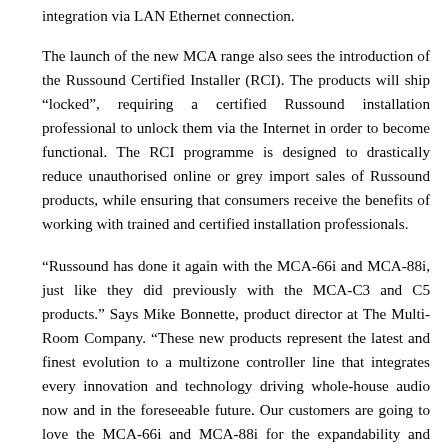integration via LAN Ethernet connection.
The launch of the new MCA range also sees the introduction of the Russound Certified Installer (RCI). The products will ship “locked”, requiring a certified Russound installation professional to unlock them via the Internet in order to become functional. The RCI programme is designed to drastically reduce unauthorised online or grey import sales of Russound products, while ensuring that consumers receive the benefits of working with trained and certified installation professionals.
“Russound has done it again with the MCA-66i and MCA-88i, just like they did previously with the MCA-C3 and C5 products.” Says Mike Bonnette, product director at The Multi-Room Company. “These new products represent the latest and finest evolution to a multizone controller line that integrates every innovation and technology driving whole-house audio now and in the foreseeable future. Our customers are going to love the MCA-66i and MCA-88i for the expandability and installation ease and these products embody a truly comprehensive line, to which installers can